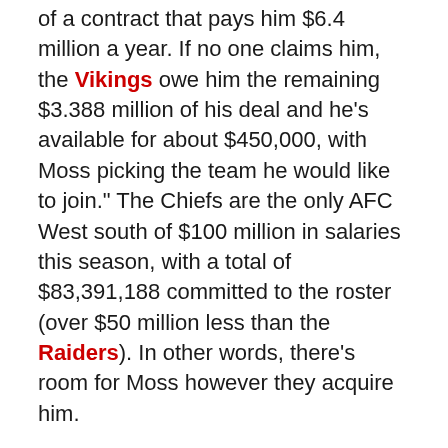of a contract that pays him $6.4 million a year. If no one claims him, the Vikings owe him the remaining $3.388 million of his deal and he's available for about $450,000, with Moss picking the team he would like to join." The Chiefs are the only AFC West south of $100 million in salaries this season, with a total of $83,391,188 committed to the roster (over $50 million less than the Raiders). In other words, there's room for Moss however they acquire him.
The Chargers won big last week and the addition of Vincent Jackson playing for his big contract will only put a spark into a team already known for its second-half runs. The Raiders are playing as well as any team in football over the last two weeks, and anyone who wants to point to their level of competition are avoiding the glaring example of the Chiefs own schedule as well. The AFC West is a bit tighter than anyone wants to believe and the addition of